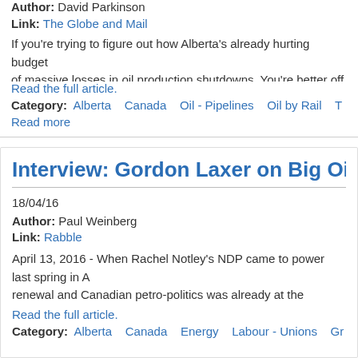Author: David Parkinson
Link: The Globe and Mail
If you're trying to figure out how Alberta's already hurting budget of massive losses in oil production shutdowns. You're better off k
Read the full article.
Category: Alberta   Canada   Oil - Pipelines   Oil by Rail   T
Read more
Interview: Gordon Laxer on Big Oil, Ra
18/04/16
Author: Paul Weinberg
Link: Rabble
April 13, 2016 - When Rachel Notley's NDP came to power last spring in A renewal and Canadian petro-politics was already at the publisher. And so, making.
Read the full article.
Category: Alberta   Canada   Energy   Labour - Unions   Gr